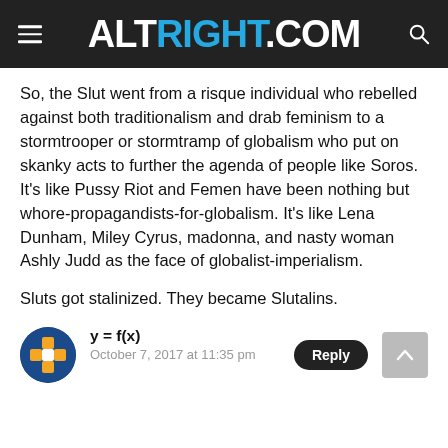ALTRIGHT.COM
So, the Slut went from a risque individual who rebelled against both traditionalism and drab feminism to a stormtrooper or stormtramp of globalism who put on skanky acts to further the agenda of people like Soros. It’s like Pussy Riot and Femen have been nothing but whore-propagandists-for-globalism. It’s like Lena Dunham, Miley Cyrus, madonna, and nasty woman Ashly Judd as the face of globalist-imperialism.
Sluts got stalinized. They became Slutalins.
[Figure (other): User avatar icon — blue circle with orange and white cross/puzzle piece symbol]
y = f(x)
October 7, 2017 at 11:35 pm